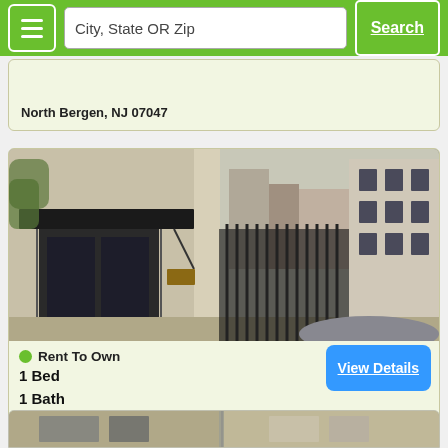City, State OR Zip | Search
North Bergen, NJ 07047
[Figure (photo): Street-level photo of an apartment building entrance with black iron gate, brick facade, and view of adjacent buildings in New Jersey.]
Rent To Own
1 Bed
1 Bath
Weehawken, NJ 07086
View Details
[Figure (photo): Partial view of another apartment building listing at the bottom of the page.]